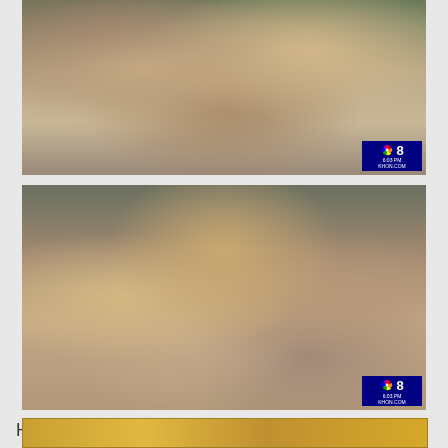[Figure (photo): NBC 8 news footage screenshot showing crowd of people, mostly young women, appearing excited and emotional outdoors. NBC 8 logo bug visible in bottom right corner. Timestamp 6:03 PM.]
[Figure (photo): NBC 8 news footage screenshot showing a larger crowd of excited fans, many young girls with open mouths and raised hands, looking up and reacting emotionally. NBC 8 logo bug visible in bottom right corner. Timestamp 6:03 PM.]
Hotel employees didn't really know what to expect from the "king of pop," but through their interaction, learned to appreciate him not only as an artist, but as a person.
[Figure (photo): Partial image at bottom of page, cropped, appears to show a gold/tan colored surface or background.]